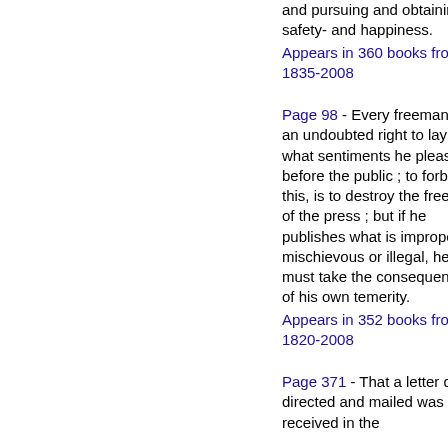and pursuing and obtaining safety- and happiness.
Appears in 360 books from 1835-2008
Page 98 - Every freeman has an undoubted right to lay what sentiments he pleases before the public ; to forbid this, is to destroy the freedom of the press ; but if he publishes what is improper, mischievous or illegal, he must take the consequences of his own temerity.
Appears in 352 books from 1820-2008
Page 371 - That a letter duly directed and mailed was received in the